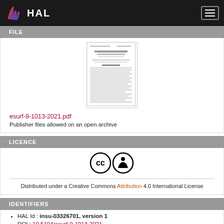HAL
FILE
[Figure (screenshot): Thumbnail preview of a document page (esurf-9-1013-2021.pdf)]
esurf-9-1013-2021.pdf
Publisher files allowed on an open archive
LICENCE
[Figure (logo): Creative Commons CC and Attribution (BY) license icons]
Distributed under a Creative Commons Attribution 4.0 International License
IDENTIFIERS
HAL Id : insu-03326701, version 1
DOI : 10.5194/esurf-9-1013-2021